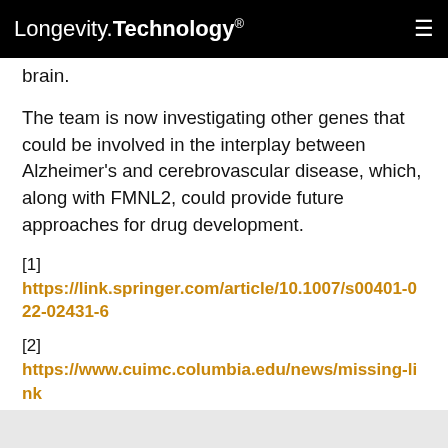Longevity.Technology®
brain.
The team is now investigating other genes that could be involved in the interplay between Alzheimer's and cerebrovascular disease, which, along with FMNL2, could provide future approaches for drug development.
[1] https://link.springer.com/article/10.1007/s00401-022-02431-6
[2] https://www.cuimc.columbia.edu/news/missing-link